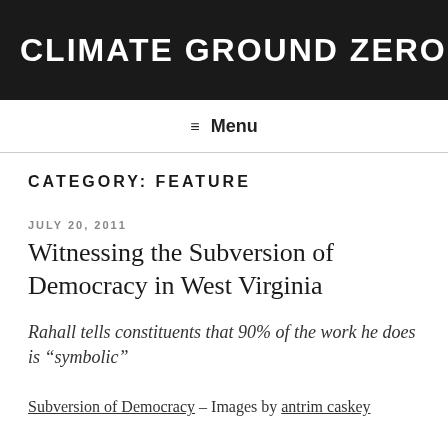CLIMATE GROUND ZERO
≡ Menu
CATEGORY: FEATURE
JULY 20, 2011
Witnessing the Subversion of Democracy in West Virginia
Rahall tells constituents that 90% of the work he does is “symbolic”
Subversion of Democracy – Images by antrim caskey